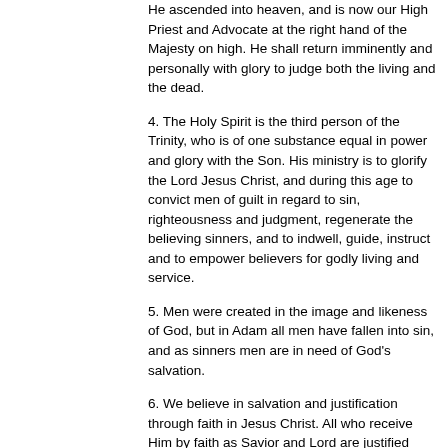He ascended into heaven, and is now our High Priest and Advocate at the right hand of the Majesty on high. He shall return imminently and personally with glory to judge both the living and the dead.
4. The Holy Spirit is the third person of the Trinity, who is of one substance equal in power and glory with the Son. His ministry is to glorify the Lord Jesus Christ, and during this age to convict men of guilt in regard to sin, righteousness and judgment, regenerate the believing sinners, and to indwell, guide, instruct and to empower believers for godly living and service.
5. Men were created in the image and likeness of God, but in Adam all men have fallen into sin, and as sinners men are in need of God's salvation.
6. We believe in salvation and justification through faith in Jesus Christ. All who receive Him by faith as Savior and Lord are justified wholly on the ground of His shed blood and are born anew of the Holy Spirit, become the children of God, into the family of God, and brought into the kingdom of His Son and sealed with the Holy Spirit.
7. The…